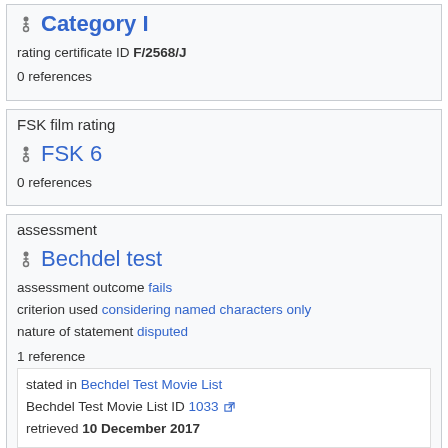Category I
rating certificate ID F/2568/J
0 references
FSK film rating
FSK 6
0 references
assessment
Bechdel test
assessment outcome fails
criterion used considering named characters only
nature of statement disputed
1 reference
stated in Bechdel Test Movie List
Bechdel Test Movie List ID 1033
retrieved 10 December 2017
Bechdel test